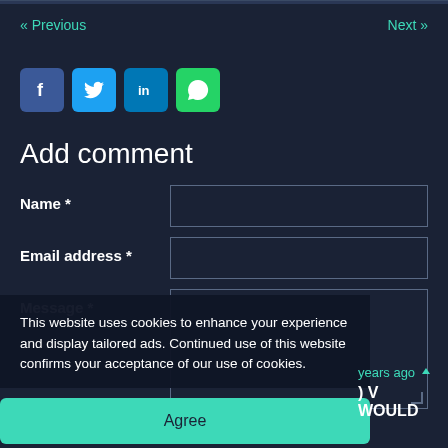« Previous   Next »
[Figure (other): Social sharing icons: Facebook, Twitter, LinkedIn, WhatsApp]
Add comment
[Figure (screenshot): Contact form with fields: Name *, Email address *, Message *]
This website uses cookies to enhance your experience and display tailored ads. Continued use of this website confirms your acceptance of our use of cookies.
Agree
years ago
) V WOULD